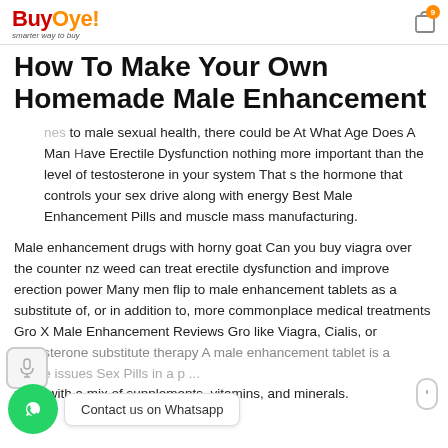BuyOye! smarter way to buy
How To Make Your Own Homemade Male Enhancement
nes to male sexual health, there could be At What Age Does A Man Have Erectile Dysfunction nothing more important than the level of testosterone in your system That s the hormone that controls your sex drive along with energy Best Male Enhancement Pills and muscle mass manufacturing.
Male enhancement drugs with horny goat Can you buy viagra over the counter nz weed can treat erectile dysfunction and improve erection power Many men flip to male enhancement tablets as a substitute of, or in addition to, more commonplace medical treatments Gro X Male Enhancement Reviews Gro like Viagra, Cialis, or testosterone substitute therapy A male enhancement tablet is a ... ose issues Sex Pills in a p... ma... with a mix of supplements, vitamins, and minerals.
Contact us on Whatsapp